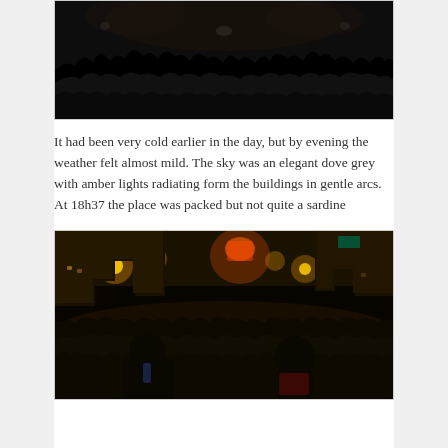[Figure (photo): Dark crowd photo taken at night, silhouettes of people packed together with dim ambient light]
It had been very cold earlier in the day, but by evening the weather felt almost mild. The sky was an elegant dove grey with amber lights radiating form the buildings in gentle arcs. At 18h37 the place was packed but not quite a sardine
[Figure (photo): Night street scene in Paris with a large crowd of people filling the street, amber streetlights illuminating Haussmann-style buildings, a man with a blue tie visible in the foreground]